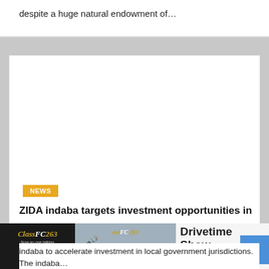despite a huge natural endowment of…
[Figure (other): White blank advertisement or placeholder box]
NEWS
ZIDA indaba targets investment opportunities in
[Figure (other): ClassFC 263 radio station logo on dark background with LISTEN LIVE button]
[Figure (other): Radio show image with HOST banner and Uncle Chu / ess Matema text, ClassFC 263 logo overlay]
Drivetime Show
Tuesday, 15:00 - 18:00
indaba to accelerate investment in local government jurisdictions. The indaba…